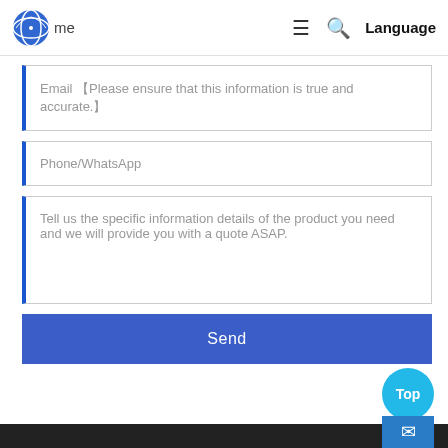me | Language
Email 【Please ensure that this information is true and accurate.】
Phone/WhatsApp
Tell us the specific information details of the product you need and we will provide you with a quote ASAP.
Send